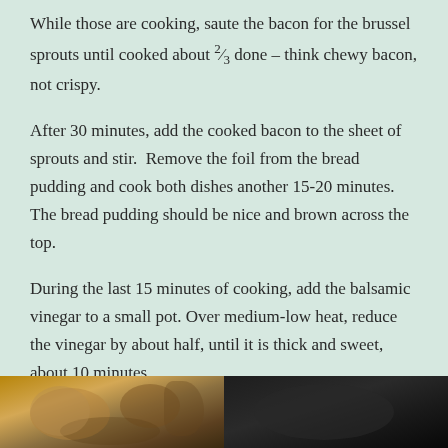While those are cooking, saute the bacon for the brussel sprouts until cooked about ⅔ done – think chewy bacon, not crispy.
After 30 minutes, add the cooked bacon to the sheet of sprouts and stir.  Remove the foil from the bread pudding and cook both dishes another 15-20 minutes. The bread pudding should be nice and brown across the top.
During the last 15 minutes of cooking, add the balsamic vinegar to a small pot. Over medium-low heat, reduce the vinegar by about half, until it is thick and sweet, about 10 minutes.
[Figure (photo): Two side-by-side food photos at the bottom of the page: left shows cooked food items with golden-brown tones, right shows a darker dish or pan.]